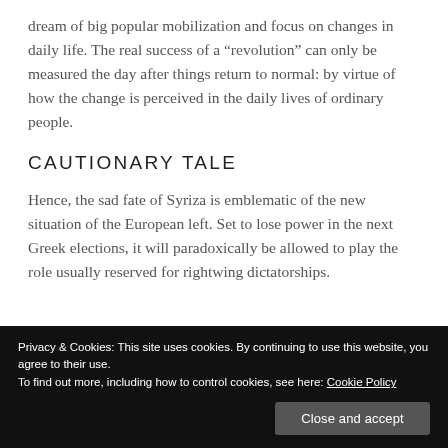dream of big popular mobilization and focus on changes in daily life. The real success of a “revolution” can only be measured the day after things return to normal: by virtue of how the change is perceived in the daily lives of ordinary people.
CAUTIONARY TALE
Hence, the sad fate of Syriza is emblematic of the new situation of the European left. Set to lose power in the next Greek elections, it will paradoxically be allowed to play the role usually reserved for rightwing dictatorships.
Privacy & Cookies: This site uses cookies. By continuing to use this website, you agree to their use.
To find out more, including how to control cookies, see here: Cookie Policy
Close and accept